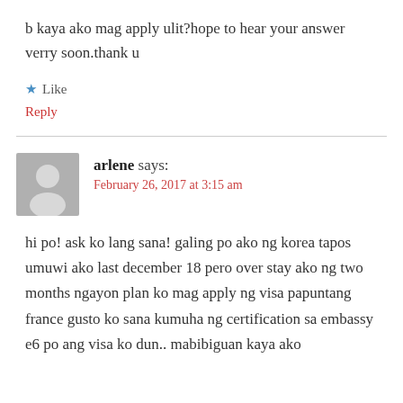b kaya ako mag apply ulit?hope to hear your answer verry soon.thank u
Like
Reply
arlene says:
February 26, 2017 at 3:15 am
hi po! ask ko lang sana! galing po ako ng korea tapos umuwi ako last december 18 pero over stay ako ng two months ngayon plan ko mag apply ng visa papuntang france gusto ko sana kumuha ng certification sa embassy e6 po ang visa ko dun.. mabibiguan kaya ako